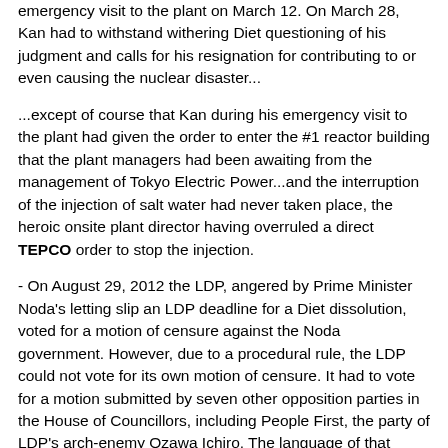emergency visit to the plant on March 12. On March 28, Kan had to withstand withering Diet questioning of his judgment and calls for his resignation for contributing to or even causing the nuclear disaster...
...except of course that Kan during his emergency visit to the plant had given the order to enter the #1 reactor building that the plant managers had been awaiting from the management of Tokyo Electric Power...and the interruption of the injection of salt water had never taken place, the heroic onsite plant director having overruled a direct TEPCO order to stop the injection.
- On August 29, 2012 the LDP, angered by Prime Minister Noda's letting slip an LDP deadline for a Diet dissolution, voted for a motion of censure against the Noda government. However, due to a procedural rule, the LDP could not vote for its own motion of censure. It had to vote for a motion submitted by seven other opposition parties in the House of Councillors, including People First, the party of LDP's arch-enemy Ozawa Ichiro. The language of that censure motion condemned the raising of the consumption tax and the Triparty Agreement of the Democratic Party of Japan, the